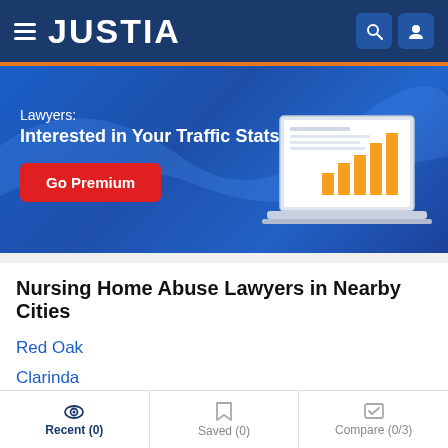JUSTIA
[Figure (screenshot): Justia promotional banner: 'Lawyers: Interested in Your Traffic Stats?' with a Go Premium button and a bar chart on a laptop graphic.]
Nursing Home Abuse Lawyers in Nearby Cities
Red Oak
Clarinda
Shenandoah
Glenwood
Recent (0) | Saved (0) | Compare (0/3)